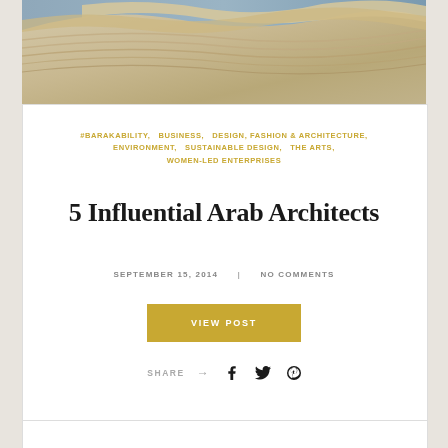[Figure (photo): Aerial/close-up photograph of a modernist architectural structure with sweeping curved white/cream concrete surfaces and horizontal striped lines, likely the Heydar Aliyev Center by Zaha Hadid.]
#BARAKABILITY,   BUSINESS,   DESIGN, FASHION & ARCHITECTURE,   ENVIRONMENT,   SUSTAINABLE DESIGN,   THE ARTS,   WOMEN-LED ENTERPRISES
5 Influential Arab Architects
SEPTEMBER 15, 2014   NO COMMENTS
VIEW POST
SHARE →  f  t  P